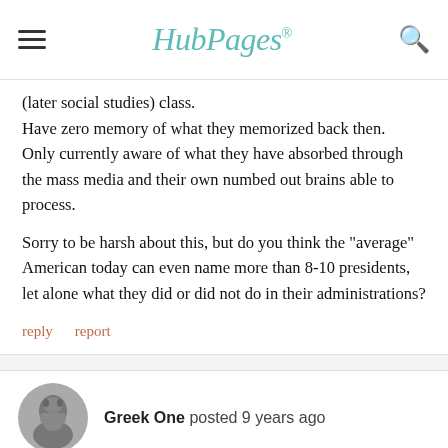HubPages
(later social studies) class.
Have zero memory of what they memorized back then.
Only currently aware of what they have absorbed through the mass media and their own numbed out brains able to process.

Sorry to be harsh about this, but do you think the "average" American today can even name more than 8-10 presidents, let alone what they did or did not do in their administrations?
reply   report
Greek One posted 9 years ago